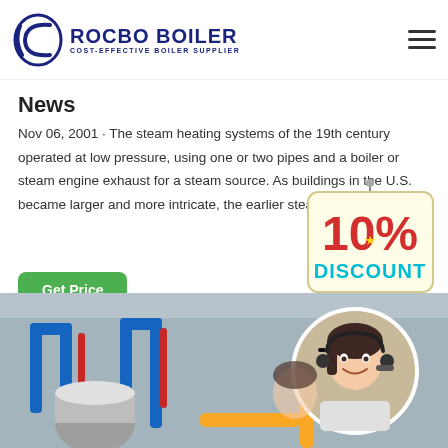ROCBO BOILER - COST-EFFECTIVE BOILER SUPPLIER
News
Nov 06, 2001 · The steam heating systems of the 19th century operated at low pressure, using one or two pipes and a boiler or steam engine exhaust for a steam source. As buildings in the U.S. became larger and more intricate, the earlier stea...
[Figure (illustration): 10% DISCOUNT badge/tag graphic overlay]
[Figure (photo): Industrial boiler room with blue and red pipes, with circular inset of female customer service representative wearing headset]